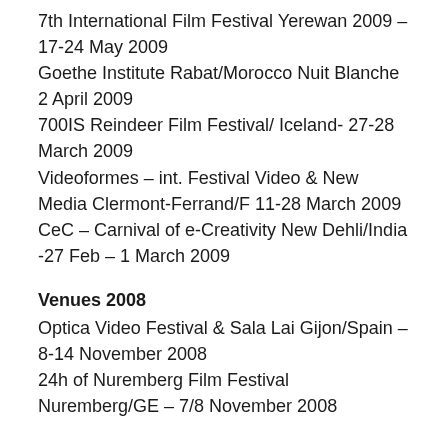7th International Film Festival Yerewan 2009 – 17-24 May 2009
Goethe Institute Rabat/Morocco Nuit Blanche 2 April 2009
700IS Reindeer Film Festival/ Iceland- 27-28 March 2009
Videoformes – int. Festival Video & New Media Clermont-Ferrand/F 11-28 March 2009
CeC – Carnival of e-Creativity New Dehli/India -27 Feb – 1 March 2009
Venues 2008
Optica Video Festival & Sala Lai Gijon/Spain – 8-14 November 2008
24h of Nuremberg Film Festival Nuremberg/GE – 7/8 November 2008